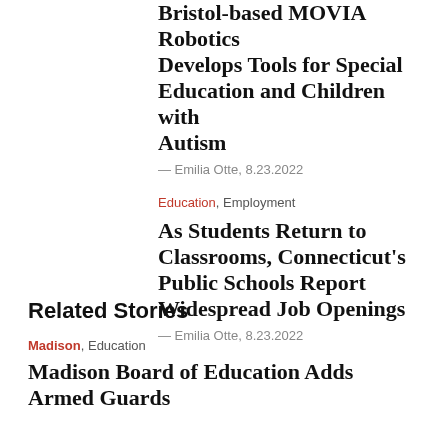Bristol-based MOVIA Robotics Develops Tools for Special Education and Children with Autism
— Emilia Otte, 8.23.2022
Education, Employment
As Students Return to Classrooms, Connecticut's Public Schools Report Widespread Job Openings
— Emilia Otte, 8.23.2022
Related Stories
Madison, Education
Madison Board of Education Adds Armed Guards